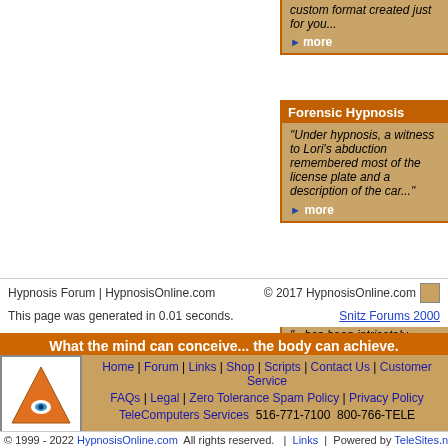custom format created just for you... more
Forensic Hypnosis
"Under hypnosis, a witness to Lori's abduction remembered most of the license plate and a description of the car..." more
NLP Hypnosis Story Based
"...has been intricately conceived to liberate the positive, life-transforming energy of your deeper mind!" more
Hypnosis Forum | HypnosisOnline.com
© 2017 HypnosisOnline.com
This page was generated in 0.01 seconds.
Snitz Forums 2000
What the mind can conceive... the body can achieve.
Home | Forum | Links | Shop | Scripts | Contact Us | Customer Service FAQs | Legal | Zero Tolerance Spam Policy | Privacy Policy TeleComputers Services 516-771-7100 800-766-TELE
© 1999 - 2022 HypnosisOnline.com All rights reserved. | Links | Powered by TeleSites.net - Se